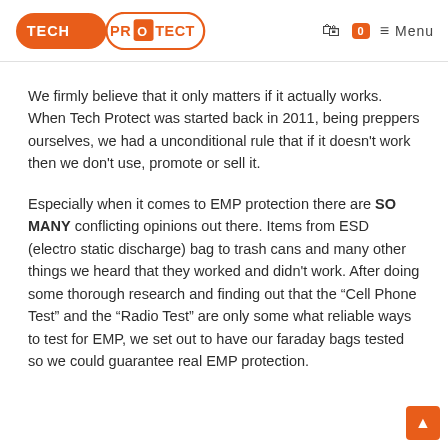TECH PROTECT | 0 | Menu
We firmly believe that it only matters if it actually works. When Tech Protect was started back in 2011, being preppers ourselves, we had a unconditional rule that if it doesn't work then we don't use, promote or sell it.
Especially when it comes to EMP protection there are SO MANY conflicting opinions out there. Items from ESD (electro static discharge) bag to trash cans and many other things we heard that they worked and didn't work. After doing some thorough research and finding out that the “Cell Phone Test” and the “Radio Test” are only some what reliable ways to test for EMP, we set out to have our faraday bags tested so we could guarantee real EMP protection.